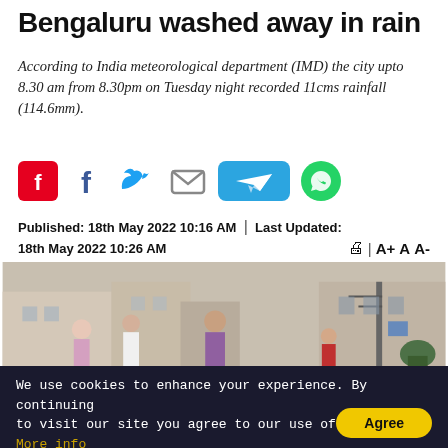Bengaluru washed away in rain
According to India meteorological department (IMD) the city upto 8.30 am from 8.30pm on Tuesday night recorded 11cms rainfall (114.6mm).
[Figure (infographic): Social media share icons: Flipboard (red), Facebook (blue f), Twitter (blue bird), Email (grey envelope), Telegram (blue button with paper plane), WhatsApp (green circle)]
Published: 18th May 2022 10:16 AM  |  Last Updated: 18th May 2022 10:26 AM
[Figure (photo): Photograph showing residents standing in a waterlogged narrow street/alley in Bengaluru after heavy rain, with debris scattered on the ground. Multiple people visible including men in casual clothes, buildings on both sides, a motorcycle in the background.]
We use cookies to enhance your experience. By continuing to visit our site you agree to our use of cookies. More info